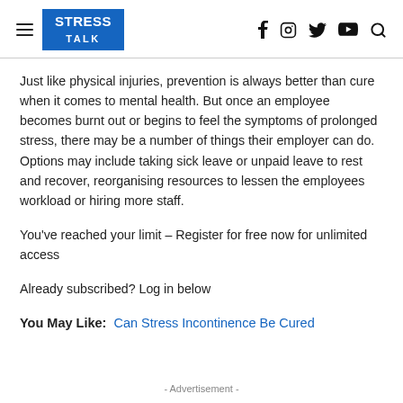STRESS TALK [navigation with hamburger menu and social icons: f, Instagram, Twitter, YouTube, Search]
Just like physical injuries, prevention is always better than cure when it comes to mental health. But once an employee becomes burnt out or begins to feel the symptoms of prolonged stress, there may be a number of things their employer can do. Options may include taking sick leave or unpaid leave to rest and recover, reorganising resources to lessen the employees workload or hiring more staff.
You've reached your limit – Register for free now for unlimited access
Already subscribed? Log in below
You May Like:  Can Stress Incontinence Be Cured
- Advertisement -